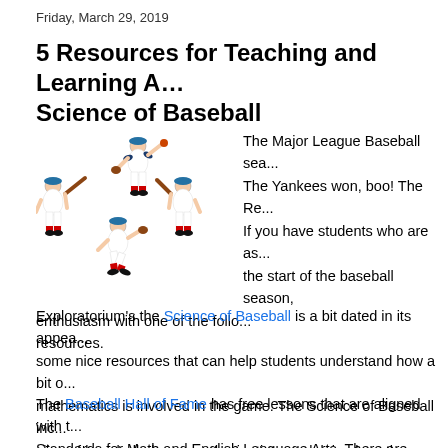Friday, March 29, 2019
5 Resources for Teaching and Learning About the Science of Baseball
[Figure (illustration): Illustration of baseball players in various pitching and batting poses arranged in a circular layout]
The Major League Baseball sea... The Yankees won, boo! The Re... If you have students who are as... the start of the baseball season, enthusiasm with one of the follo... resources.
Exploratorium's the Science of Baseball is a bit dated in its appea... some nice resources that can help students understand how a bit o... mathematics is involved in the game. The Science of Baseball inc... clips of baseball players and scientists explaining how the weathe... ball, the physics of various pitches, and reaction times to thrown a...
The Baseball Hall of Fame has free lessons that are aligned with t... Standards for Math and English Language Arts. There are lessons